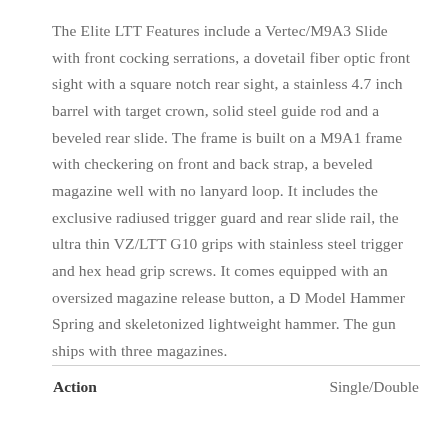The Elite LTT Features include a Vertec/M9A3 Slide with front cocking serrations, a dovetail fiber optic front sight with a square notch rear sight, a stainless 4.7 inch barrel with target crown, solid steel guide rod and a beveled rear slide.  The frame is built on a M9A1 frame with checkering on front and back strap, a beveled magazine well with no lanyard loop.  It includes the exclusive radiused trigger guard and rear slide rail, the ultra thin VZ/LTT G10 grips with stainless steel trigger and hex head grip screws.  It comes equipped with an oversized magazine release button, a D Model Hammer Spring and skeletonized lightweight hammer.  The gun ships with three magazines.
| Action |  |
| --- | --- |
| Action | Single/Double |